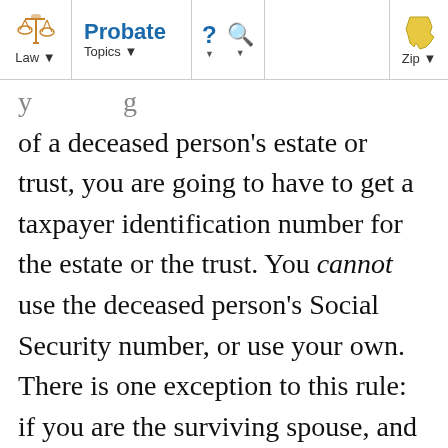Law | Probate Topics | ? | Search | Zip
of a deceased person's estate or trust, you are going to have to get a taxpayer identification number for the estate or the trust. You cannot use the deceased person's Social Security number, or use your own. There is one exception to this rule: if you are the surviving spouse, and everything is left to you either outright or in a revocable living trust, you can continue to use your own Social Security number for these